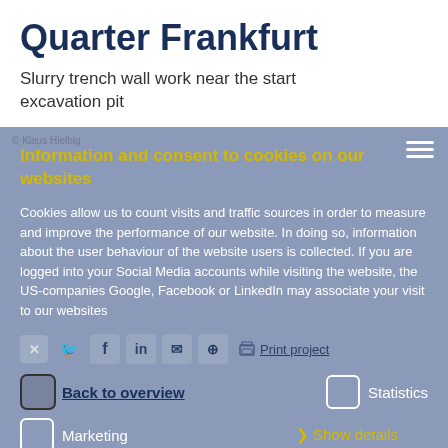Quarter Frankfurt
Slurry trench wall work near the start excavation pit
Information and consent to cookies on our websites
Cookies allow us to count visits and traffic sources in order to measure and improve the performance of our website. In doing so, information about the user behaviour of the website users is collected. If you are logged into your Social Media accounts while visiting the website, the US-companies Google, Facebook or LinkedIn may associate your visit to our websites
Back to overview
Required
Statistics
Marketing
> Show details
Only allow selected cookies
Your fast link to PORR.
Allow all cookies (incl. US providers)
PORR GmbH & Co. KGaA